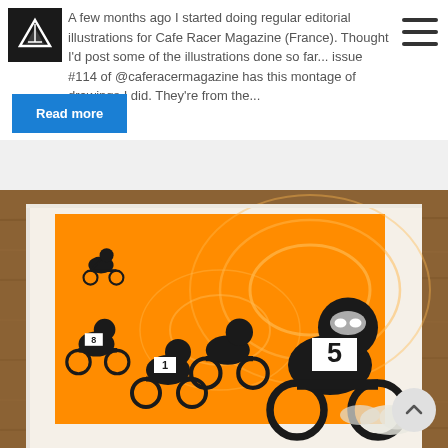[Figure (logo): Triangle/chevron logo mark on dark background]
A few months ago I started doing regular editorial illustrations for Cafe Racer Magazine (France). Thought I'd post some of the illustrations done so far... issue #114 of @caferacermagazine has this montage of drawings I did. They're from the...
Read more
[Figure (illustration): Screen print / illustration showing motorcycle racers in orange and black ink on cream paper, mounted on a wooden frame background. Multiple riders with numbered bikes (1, 5, 8) racing, with a large orange swirl pattern behind them.]